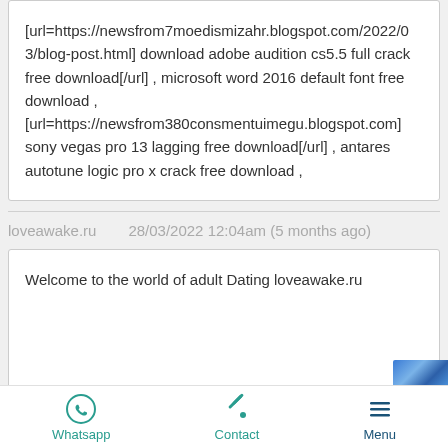[url=https://newsfrom7moedismizahr.blogspot.com/2022/03/blog-post.html] download adobe audition cs5.5 full crack free download[/url] , microsoft word 2016 default font free download , [url=https://newsfrom380consmentuimegu.blogspot.com] sony vegas pro 13 lagging free download[/url] , antares autotune logic pro x crack free download ,
loveawake.ru    28/03/2022 12:04am (5 months ago)
Welcome to the world of adult Dating loveawake.ru
Whatsapp   Contact   Menu